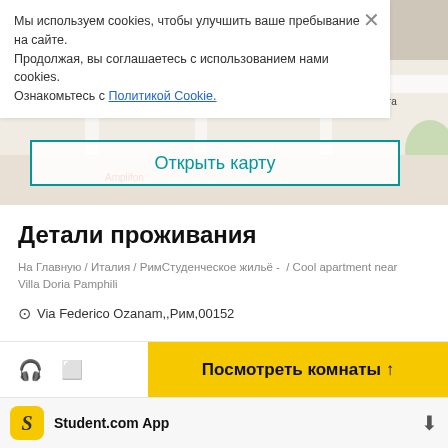[Figure (map): Street map showing area near Villa Doria Pamphili in Rome, with labels for Todis, L'enoteca di Monteverde, Nostra Signora della Salette, and Amplifon]
Мы используем cookies, чтобы улучшить ваше пребывание на сайте. Продолжая, вы соглашаетесь с использованием нами cookies. Ознакомьтесь с Политикой Cookie.
Открыть карту
Детали проживания
На Главную / Италия / РимСтуденческое жильё -  / Cool apartment near Villa Doria Pamphili
Via Federico Ozanam,,Рим,00152
Посмотреть комнаты ↑
Student.com App